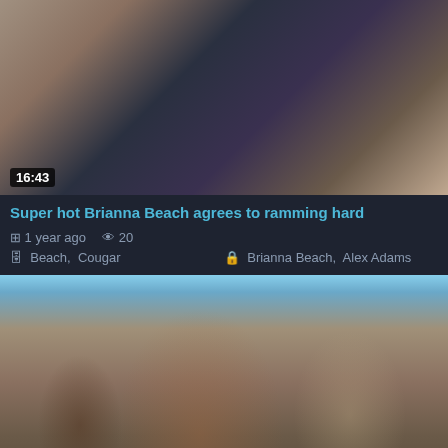[Figure (screenshot): Video thumbnail showing a woman sitting near a window with a beach view, wearing a striped top, with a dark pillow/cushion visible. Duration badge shows 16:43.]
Super hot Brianna Beach agrees to ramming hard
⊞ 1 year ago  👁 20
🗁 Beach,  Cougar        🔒 Brianna Beach,  Alex Adams
[Figure (screenshot): Video thumbnail showing a crowd of people at an outdoor beach party, with a dark-haired woman in a bikini in the foreground dancing, and a blonde woman behind her wearing sunglasses.]